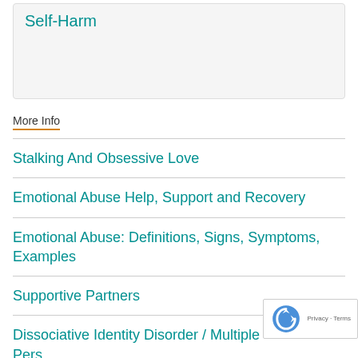Self-Harm
More Info
Stalking And Obsessive Love
Emotional Abuse Help, Support and Recovery
Emotional Abuse: Definitions, Signs, Symptoms, Examples
Supportive Partners
Dissociative Identity Disorder / Multiple Pers... Disorder FAQ (frequently asked questions)